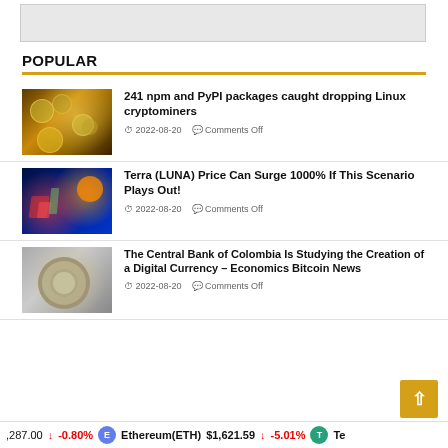POPULAR
241 npm and PyPI packages caught dropping Linux cryptominers · 2022-08-20 · Comments Off
Terra (LUNA) Price Can Surge 1000% If This Scenario Plays Out! · 2022-08-20 · Comments Off
The Central Bank of Colombia Is Studying the Creation of a Digital Currency – Economics Bitcoin News · 2022-08-20 · Comments Off
,287.00 ↓ -0.80%  Ethereum(ETH)  $1,621.59  ↓ -5.01%  Te